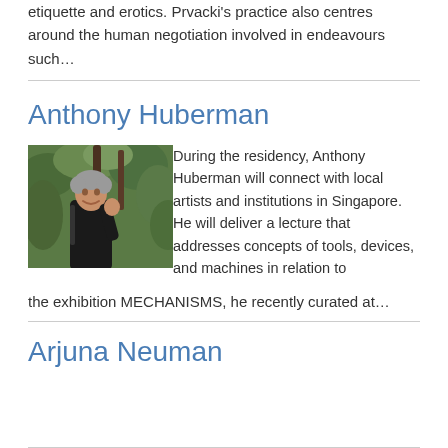etiquette and erotics. Prvacki's practice also centres around the human negotiation involved in endeavours such…
Anthony Huberman
[Figure (photo): Photo of Anthony Huberman, a man with short grey hair wearing a black top, standing outdoors in a lush green forested area, smiling at the camera with one hand raised near his chest.]
During the residency, Anthony Huberman will connect with local artists and institutions in Singapore. He will deliver a lecture that addresses concepts of tools, devices, and machines in relation to the exhibition MECHANISMS, he recently curated at…
Arjuna Neuman